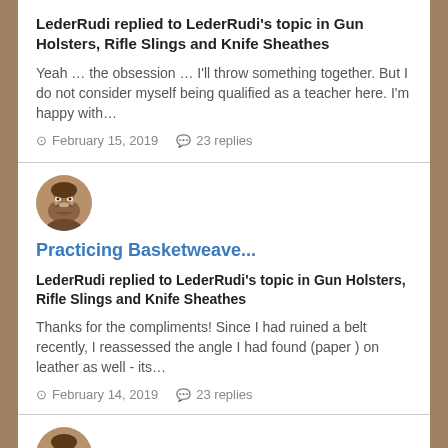LederRudi replied to LederRudi's topic in Gun Holsters, Rifle Slings and Knife Sheathes
Yeah … the obsession … I'll throw something together. But I do not consider myself being qualified as a teacher here. I'm happy with…
February 15, 2019   23 replies
[Figure (photo): Circular avatar photo of a man with beard and dark complexion]
Practicing Basketweave...
LederRudi replied to LederRudi's topic in Gun Holsters, Rifle Slings and Knife Sheathes
Thanks for the compliments! Since I had ruined a belt recently, I reassessed the angle I had found (paper ) on leather as well - its…
February 14, 2019   23 replies
[Figure (photo): Circular avatar photo of a man with beard and dark complexion]
Practicing Basketweave